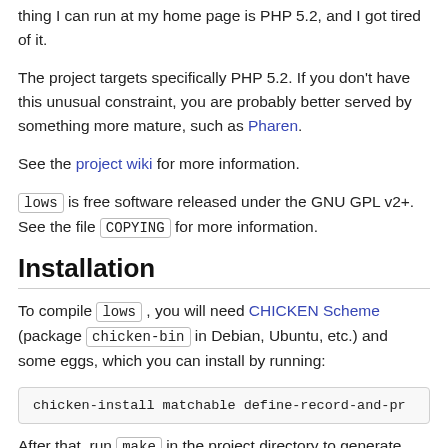thing I can run at my home page is PHP 5.2, and I got tired of it.
The project targets specifically PHP 5.2. If you don't have this unusual constraint, you are probably better served by something more mature, such as Pharen.
See the project wiki for more information.
lows is free software released under the GNU GPL v2+. See the file COPYING for more information.
Installation
To compile lows , you will need CHICKEN Scheme (package chicken-bin in Debian, Ubuntu, etc.) and some eggs, which you can install by running:
chicken-install matchable define-record-and-pr
After that, run make in the project directory to generate